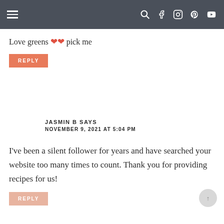Navigation header with hamburger menu and social icons
Love greens ❤❤ pick me
REPLY
JASMIN B SAYS
NOVEMBER 9, 2021 AT 5:04 PM
I've been a silent follower for years and have searched your website too many times to count. Thank you for providing recipes for us!
REPLY